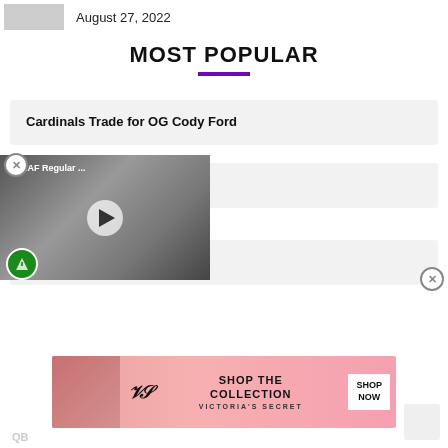August 27, 2022
MOST POPULAR
Cardinals Trade for OG Cody Ford
steal of the NFL Draft?
[Figure (screenshot): Video thumbnail overlay showing NCAAF Regular ... with a football coach and play button]
t Wilson
[Figure (photo): Victoria's Secret advertisement banner with model photo, VS logo, SHOP THE COLLECTION text, and SHOP NOW button]
QB